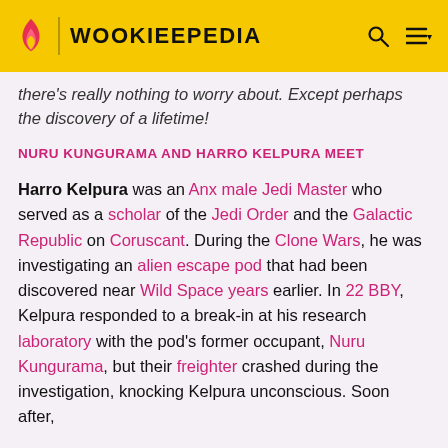WOOKIEEPEDIA
there's really nothing to worry about. Except perhaps the discovery of a lifetime!
NURU KUNGURAMA AND HARRO KELPURA MEET
Harro Kelpura was an Anx male Jedi Master who served as a scholar of the Jedi Order and the Galactic Republic on Coruscant. During the Clone Wars, he was investigating an alien escape pod that had been discovered near Wild Space years earlier. In 22 BBY, Kelpura responded to a break-in at his research laboratory with the pod's former occupant, Nuru Kungurama, but their freighter crashed during the investigation, knocking Kelpura unconscious. Soon after, he was brought to the Jedi Temple medical center